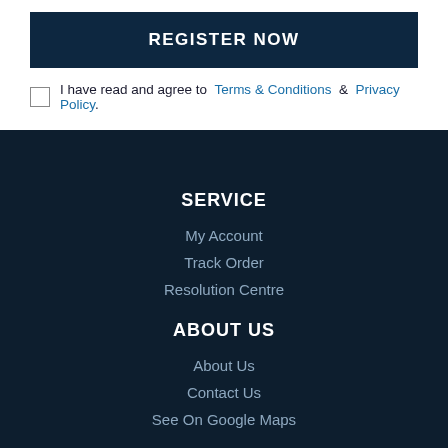REGISTER NOW
I have read and agree to Terms & Conditions & Privacy Policy.
SERVICE
My Account
Track Order
Resolution Centre
ABOUT US
About Us
Contact Us
See On Google Maps